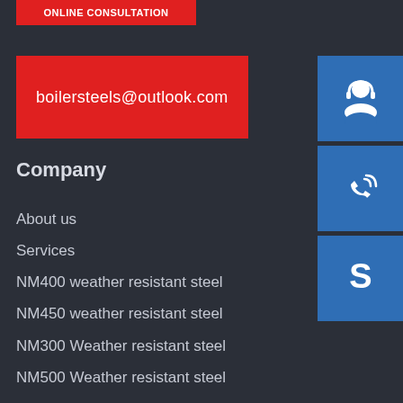[Figure (other): Partially visible red button at top with white uppercase text (cropped)]
boilersteels@outlook.com
Company
About us
Services
NM400 weather resistant steel
NM450 weather resistant steel
NM300 Weather resistant steel
NM500 Weather resistant steel
HARDOX400 weather resistant steel
[Figure (illustration): Blue square icon with white customer support / headset person silhouette]
[Figure (illustration): Blue square icon with white phone with signal waves]
[Figure (illustration): Blue square icon with white Skype logo S]